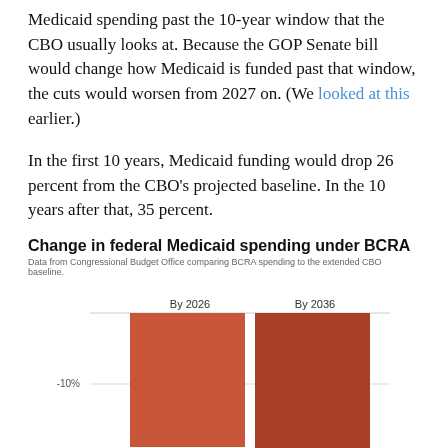Medicaid spending past the 10-year window that the CBO usually looks at. Because the GOP Senate bill would change how Medicaid is funded past that window, the cuts would worsen from 2027 on. (We looked at this earlier.)
In the first 10 years, Medicaid funding would drop 26 percent from the CBO's projected baseline. In the 10 years after that, 35 percent.
Change in federal Medicaid spending under BCRA
Data from Congressional Budget Office comparing BCRA spending to the extended CBO baseline.
[Figure (bar-chart): Change in federal Medicaid spending under BCRA]